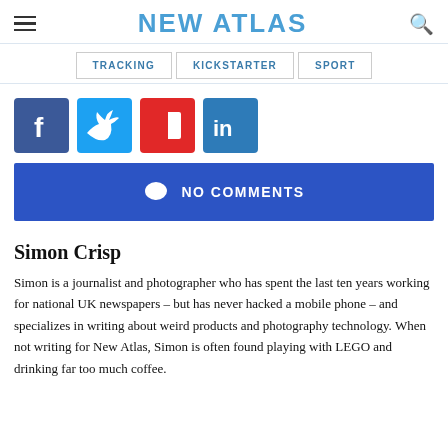NEW ATLAS
TRACKING
KICKSTARTER
SPORT
[Figure (other): Social media sharing icons: Facebook, Twitter, Flipboard, LinkedIn]
NO COMMENTS
Simon Crisp
Simon is a journalist and photographer who has spent the last ten years working for national UK newspapers – but has never hacked a mobile phone – and specializes in writing about weird products and photography technology. When not writing for New Atlas, Simon is often found playing with LEGO and drinking far too much coffee.